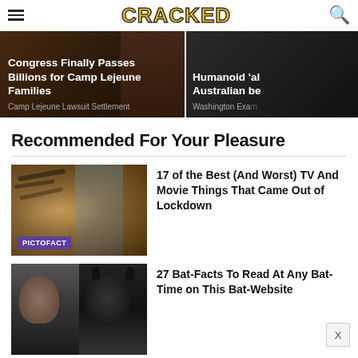CRACKED
[Figure (screenshot): Advertisement banner: Congress Finally Passes Billions for Camp Lejeune Families - Camp Lejeune Lawsuit Settlement]
[Figure (screenshot): Advertisement banner: Humanoid 'al... Australian be... - Washington Exa...]
Recommended For Your Pleasure
[Figure (photo): Tiger King - Joe Exotic with tiger, PICTOFACT label]
17 of the Best (And Worst) TV And Movie Things That Came Out of Lockdown
[Figure (photo): Split image of two Batman actors]
27 Bat-Facts To Read At Any Bat-Time on This Bat-Website